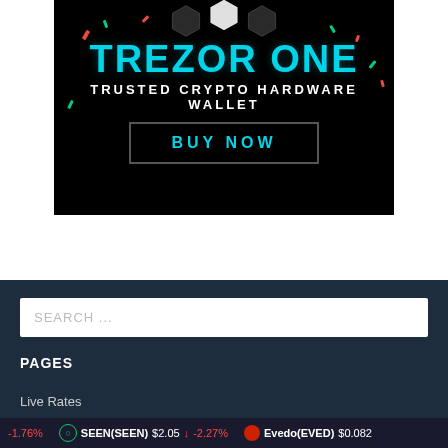[Figure (advertisement): Trezor One hardware wallet advertisement on black background with teal title text, white subtitle, and Buy Now button. Decorative hexagons at top.]
PAGES
Live Rates
Privacy Policy
-1.76%   SEEN(SEEN) $2.05 ↓ -2.27%   Evedo(EVED) $0.082